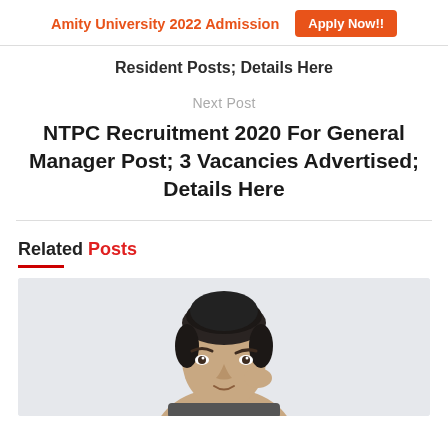Amity University 2022 Admission   Apply Now!!
Resident Posts; Details Here
Next Post
NTPC Recruitment 2020 For General Manager Post; 3 Vacancies Advertised; Details Here
Related Posts
[Figure (photo): Photo of a young man looking upward, partially cropped, against a light gray background]